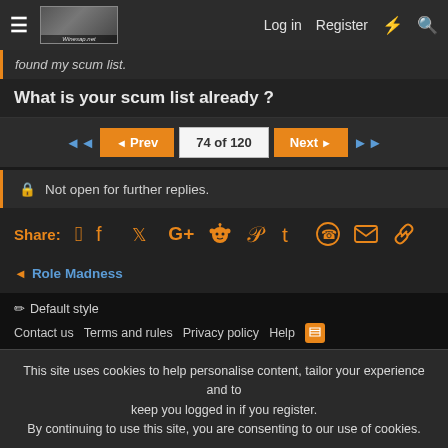Log in  Register
found my scum list.
What is your scum list already ?
◄Prev  74 of 120  Next►
🔒 Not open for further replies.
Share: [social icons: facebook, twitter, google+, reddit, pinterest, tumblr, whatsapp, email, link]
< Role Madness
✏ Default style
Contact us  Terms and rules  Privacy policy  Help  [RSS]
This site uses cookies to help personalise content, tailor your experience and to keep you logged in if you register.
By continuing to use this site, you are consenting to our use of cookies.
✓ Accept  Learn more...